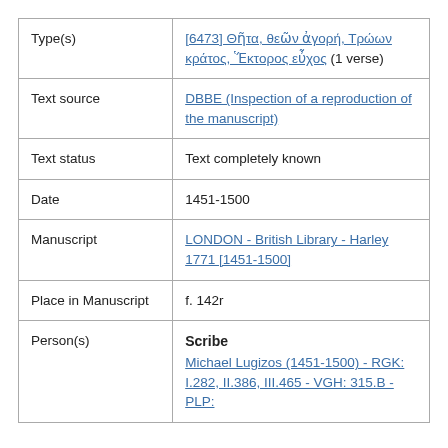| Type(s) | [6473] Θῆτα, θεῶν ἀγορή, Τρώων κράτος, Ἕκτορος εὖχος (1 verse) |
| Text source | DBBE (Inspection of a reproduction of the manuscript) |
| Text status | Text completely known |
| Date | 1451-1500 |
| Manuscript | LONDON - British Library - Harley 1771 [1451-1500] |
| Place in Manuscript | f. 142r |
| Person(s) | Scribe
Michael Lugizos (1451-1500) - RGK: I.282, II.386, III.465 - VGH: 315.B - PLP: |